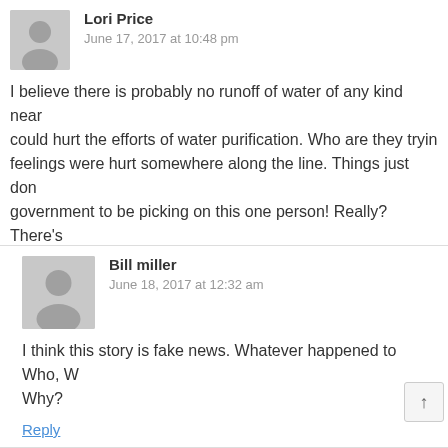[Figure (illustration): Gray placeholder avatar icon for Lori Price]
Lori Price
June 17, 2017 at 10:48 pm
I believe there is probably no runoff of water of any kind near could hurt the efforts of water purification. Who are they tryin feelings were hurt somewhere along the line. Things just don government to be picking on this one person! Really? There's this!!!
Reply
[Figure (illustration): Gray placeholder avatar icon for Bill miller]
Bill miller
June 18, 2017 at 12:32 am
I think this story is fake news. Whatever happened to Who, W Why?
Reply